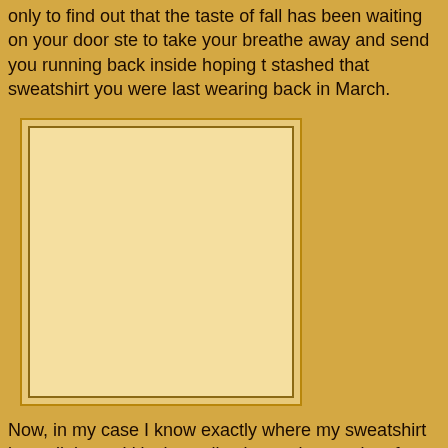only to find out that the taste of fall has been waiting on your door ste... to take your breathe away and send you running back inside hoping t... stashed that sweatshirt you were last wearing back in March.
[Figure (photo): A blank rectangular image placeholder with a light tan/cream colored interior and a darker border, set against a golden background.]
Now, in my case I know exactly where my sweatshirt is at all times. It'... jacket collection and two pairs of pants that only see action a few mo... going forward it appears that long sleeves and pant legs will become ... here. To Florida anglers the signs of fall are obvious. White Pelicans f... indicator followed by extreme lower tides and water temperatures. He... anglers covet the extreme lower tides as this indicates the beginning...